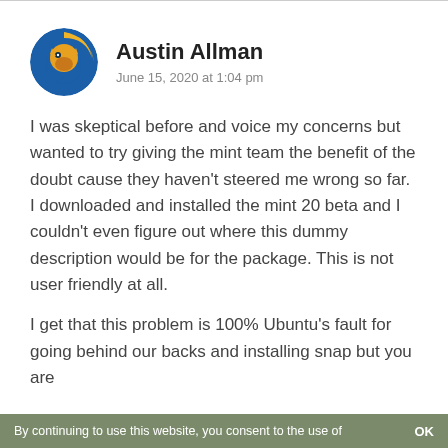Austin Allman
June 15, 2020 at 1:04 pm
I was skeptical before and voice my concerns but wanted to try giving the mint team the benefit of the doubt cause they haven't steered me wrong so far. I downloaded and installed the mint 20 beta and I couldn't even figure out where this dummy description would be for the package. This is not user friendly at all.
I get that this problem is 100% Ubuntu's fault for going behind our backs and installing snap but you are
By continuing to use this website, you consent to the use of    OK